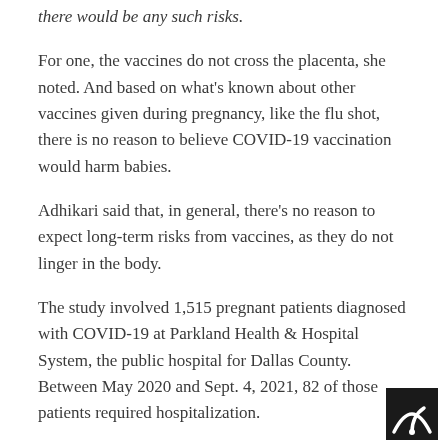there would be any such risks.
For one, the vaccines do not cross the placenta, she noted. And based on what's known about other vaccines given during pregnancy, like the flu shot, there is no reason to believe COVID-19 vaccination would harm babies.
Adhikari said that, in general, there's no reason to expect long-term risks from vaccines, as they do not linger in the body.
The study involved 1,515 pregnant patients diagnosed with COVID-19 at Parkland Health & Hospital System, the public hospital for Dallas County. Between May 2020 and Sept. 4, 2021, 82 of those patients required hospitalization.
The proportion of patients who became that ill increased after the rise of the Delta variant. Last year, the percentage of pregnant patients who required